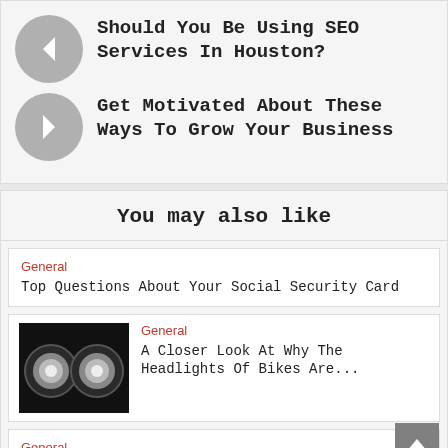Should You Be Using SEO Services In Houston?
Get Motivated About These Ways To Grow Your Business
You may also like
General
Top Questions About Your Social Security Card
[Figure (photo): Two round black bike headlights side by side]
General
A Closer Look At Why The Headlights Of Bikes Are...
General